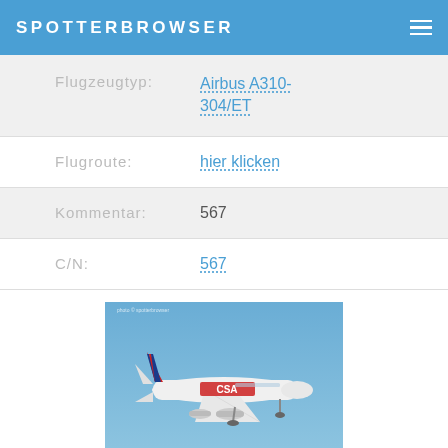SPOTTERBROWSER
| Label | Value |
| --- | --- |
| Flugzeugtyp: | Airbus A310-304/ET |
| Flugroute: | hier klicken |
| Kommentar: | 567 |
| C/N: | 567 |
[Figure (photo): CSA Czech Airlines aircraft (Airbus A310-304/ET) in flight against a blue sky background, viewed from the side, landing gear down.]